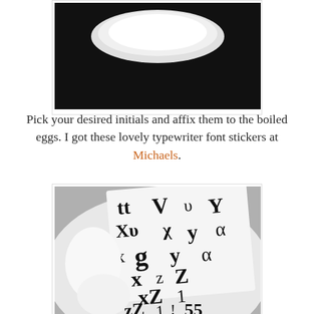[Figure (photo): Close-up photo of a white bowl with a dark background, partially visible at top of page]
Pick your desired initials and affix them to the boiled eggs. I got these lovely typewriter font stickers at Michaels.
[Figure (photo): Close-up photo of typewriter font letter stickers (showing letters t, v, y, x, g, y, z, Z and numbers) next to white eggs in a white bowl]